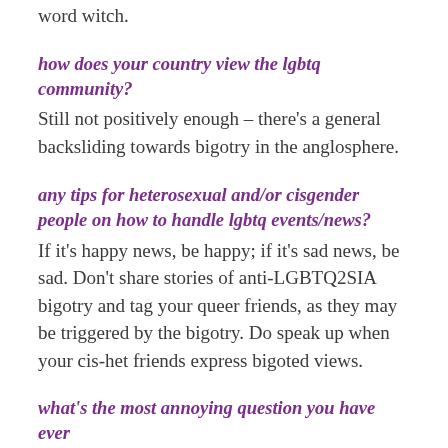word witch.
how does your country view the lgbtq community?
Still not positively enough – there's a general backsliding towards bigotry in the anglosphere.
any tips for heterosexual and/or cisgender people on how to handle lgbtq events/news?
If it's happy news, be happy; if it's sad news, be sad. Don't share stories of anti-LGBTQ2SIA bigotry and tag your queer friends, as they may be triggered by the bigotry. Do speak up when your cis-het friends express bigoted views.
what's the most annoying question you have ever